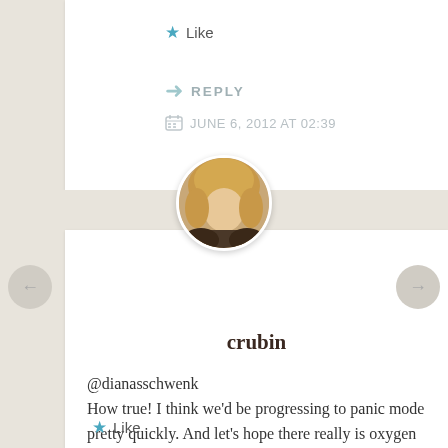★ Like
➜ REPLY
JUNE 6, 2012 AT 02:39
[Figure (photo): Circular avatar photo of a blonde woman named crubin]
crubin
@dianasschwenk
How true! I think we'd be progressing to panic mode pretty quickly. And let's hope there really is oxygen coming from those things...
★ Like